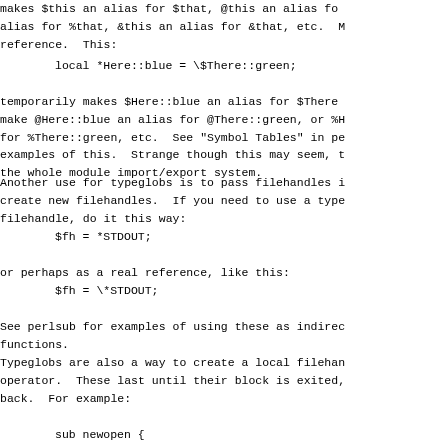makes $this an alias for $that, @this an alias fo
alias for %that, &this an alias for &that, etc.  N
reference.  This:
temporarily makes $Here::blue an alias for $There
make @Here::blue an alias for @There::green, or %H
for %There::green, etc.  See "Symbol Tables" in pe
examples of this.  Strange though this may seem, t
the whole module import/export system.
Another use for typeglobs is to pass filehandles i
create new filehandles.  If you need to use a type
filehandle, do it this way:
or perhaps as a real reference, like this:
See perlsub for examples of using these as indirec
functions.
Typeglobs are also a way to create a local filehan
operator.  These last until their block is exited,
back.  For example: